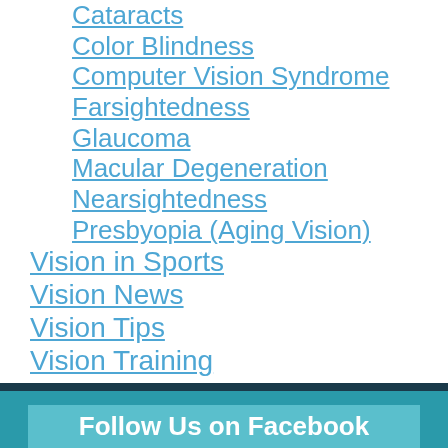Cataracts
Color Blindness
Computer Vision Syndrome
Farsightedness
Glaucoma
Macular Degeneration
Nearsightedness
Presbyopia (Aging Vision)
Vision in Sports
Vision News
Vision Tips
Vision Training
Women's Eye Health
Follow Us on Facebook